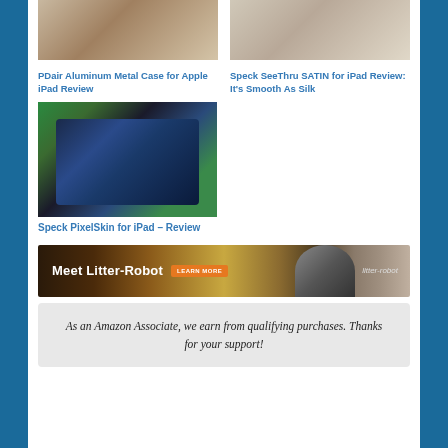[Figure (photo): Thumbnail image of PDair Aluminum Metal Case for Apple iPad]
PDair Aluminum Metal Case for Apple iPad Review
[Figure (photo): Thumbnail image of Speck SeeThru SATIN for iPad]
Speck SeeThru SATIN for iPad Review: It's Smooth As Silk
[Figure (photo): Photo of iPad with green Speck PixelSkin case showing home screen icons]
Speck PixelSkin for iPad – Review
[Figure (photo): Litter-Robot advertisement banner showing Meet Litter-Robot with Learn More button and woman with cat]
As an Amazon Associate, we earn from qualifying purchases. Thanks for your support!